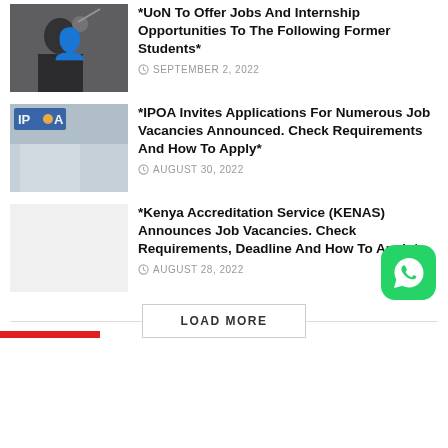[Figure (photo): Photo of a man in a suit pointing, dark background]
*UoN To Offer Jobs And Internship Opportunities To The Following Former Students*
SEPTEMBER 2, 2022
[Figure (photo): IPOA building exterior with IPOA logo badge]
*IPOA Invites Applications For Numerous Job Vacancies Announced. Check Requirements And How To Apply*
AUGUST 30, 2022
[Figure (photo): Blank/light grey image placeholder]
*Kenya Accreditation Service (KENAS) Announces Job Vacancies. Check Requirements, Deadline And How To Apply*
AUGUST 28, 2022
LOAD MORE